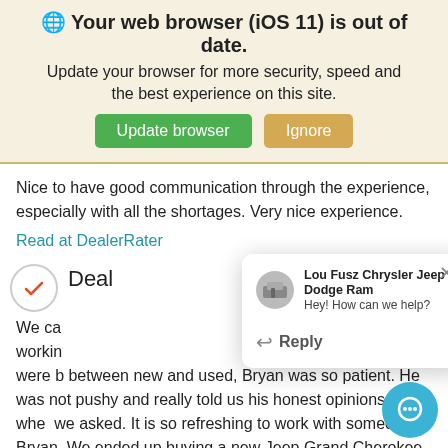🌐 Your web browser (iOS 11) is out of date. Update your browser for more security, speed and the best experience on this site.
Nice to have good communication through the experience, especially with all the shortages. Very nice experience.
Read at DealerRater
Deal
We ca... workin... were b... between new and used, Bryan was so patient. He was not pushy and really told us his honest opinions when we asked. It is so refreshing to work with someone l... Bryan. We ended up buying a new Jeep Grand Cherokee and we love it so much!
[Figure (screenshot): Chat popup from Lou Fusz Chrysler Jeep Dodge Ram with close button, dealer logo, name, subtitle 'Hey! How can we help?', and a Reply button.]
[Figure (other): Blue circular chat bubble button in bottom right corner.]